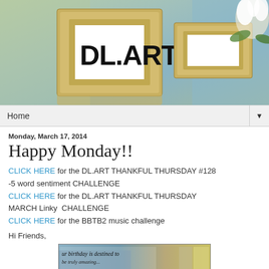[Figure (illustration): Blog header banner showing ornate gold picture frames with 'DL.ART' text, decorative green/blue/teal background, and white flowers on right side]
Home ▼
Monday, March 17, 2014
Happy Monday!!
CLICK HERE for the DL.ART THANKFUL THURSDAY #128 -5 word sentiment CHALLENGE
CLICK HERE for the DL.ART THANKFUL THURSDAY MARCH Linky  CHALLENGE
CLICK HERE for the BBTB2 music challenge
Hi Friends,
[Figure (photo): Partial image of a card or artwork with text 'ur birthday is destined to...' visible]